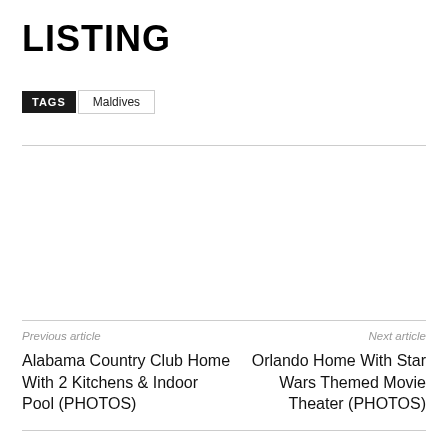LISTING
TAGS  Maldives
Previous article
Alabama Country Club Home With 2 Kitchens & Indoor Pool (PHOTOS)
Next article
Orlando Home With Star Wars Themed Movie Theater (PHOTOS)